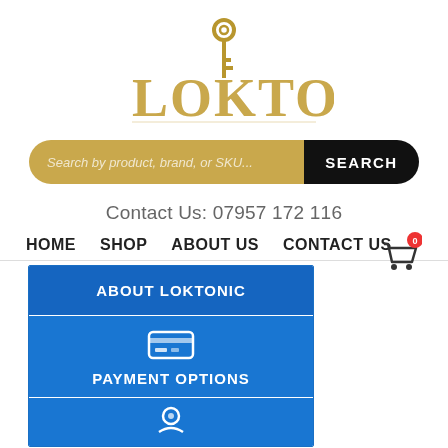[Figure (logo): Loktonic logo with golden key above stylized gold metallic text reading LOKTONIC]
[Figure (other): Search bar with placeholder text 'Search by product, brand, or SKU...' and black SEARCH button on right]
Contact Us: 07957 172 116
HOME   SHOP   ABOUT US   CONTACT US
[Figure (other): Shopping cart icon with red badge showing 0]
ABOUT LOKTONIC
[Figure (other): Credit card icon]
PAYMENT OPTIONS